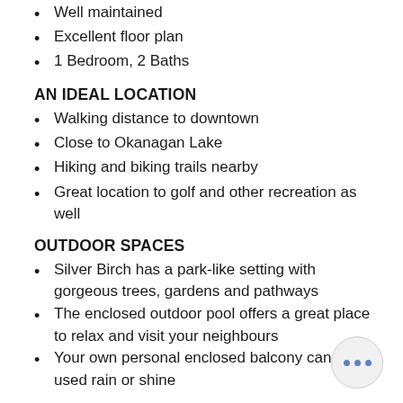Well maintained
Excellent floor plan
1 Bedroom, 2 Baths
AN IDEAL LOCATION
Walking distance to downtown
Close to Okanagan Lake
Hiking and biking trails nearby
Great location to golf and other recreation as well
OUTDOOR SPACES
Silver Birch has a park-like setting with gorgeous trees, gardens and pathways
The enclosed outdoor pool offers a great place to relax and visit your neighbours
Your own personal enclosed balcony can be used rain or shine
STRATA
This is a self managed strata
Strata is well run and proactive